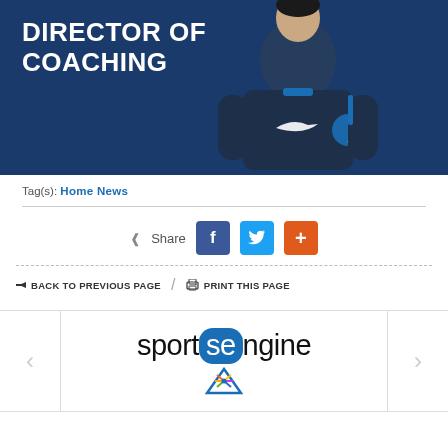[Figure (photo): Hero image of a person in a navy blue Nike FC Stars jacket against a dark blue background. Bold white text reads 'DIRECTOR OF COACHING'.]
Tag(s): Home News
Share (Facebook, Twitter, Google+)
← BACK TO PREVIOUS PAGE   /   🖨 PRINT THIS PAGE
[Figure (logo): SportsEngine logo with NBC peacock shield icon underneath the 'se' text]